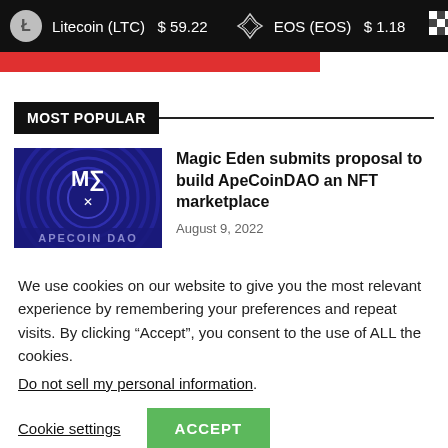Litecoin (LTC) $59.22   EOS (EOS) $1.18
[Figure (screenshot): Red banner/bar element]
MOST POPULAR
[Figure (illustration): Magic Eden / ApeCoin DAO thumbnail image with ME logo on dark blue swirl background]
Magic Eden submits proposal to build ApeCoinDAO an NFT marketplace
August 9, 2022
We use cookies on our website to give you the most relevant experience by remembering your preferences and repeat visits. By clicking “Accept”, you consent to the use of ALL the cookies.
Do not sell my personal information.
Cookie settings   ACCEPT